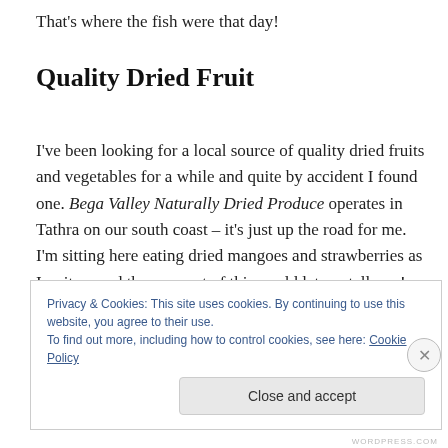That's where the fish were that day!
Quality Dried Fruit
I've been looking for a local source of quality dried fruits and vegetables for a while and quite by accident I found one. Bega Valley Naturally Dried Produce operates in Tathra on our south coast – it's just up the road for me. I'm sitting here eating dried mangoes and strawberries as I write – and they are out of this world let me tell you!
Privacy & Cookies: This site uses cookies. By continuing to use this website, you agree to their use.
To find out more, including how to control cookies, see here: Cookie Policy
Close and accept